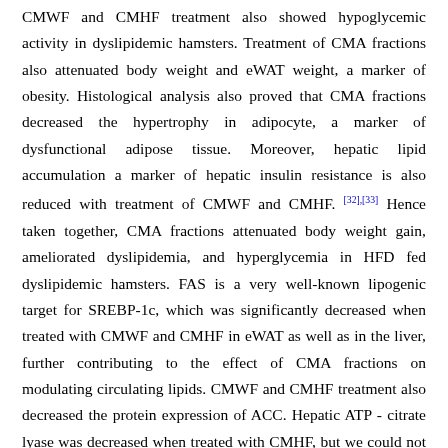CMWF and CMHF treatment also showed hypoglycemic activity in dyslipidemic hamsters. Treatment of CMA fractions also attenuated body weight and eWAT weight, a marker of obesity. Histological analysis also proved that CMA fractions decreased the hypertrophy in adipocyte, a marker of dysfunctional adipose tissue. Moreover, hepatic lipid accumulation a marker of hepatic insulin resistance is also reduced with treatment of CMWF and CMHF. [32],[33] Hence taken together, CMA fractions attenuated body weight gain, ameliorated dyslipidemia, and hyperglycemia in HFD fed dyslipidemic hamsters. FAS is a very well-known lipogenic target for SREBP-1c, which was significantly decreased when treated with CMWF and CMHF in eWAT as well as in the liver, further contributing to the effect of CMA fractions on modulating circulating lipids. CMWF and CMHF treatment also decreased the protein expression of ACC. Hepatic ATP - citrate lyase was decreased when treated with CMHF, but we could not get any significant difference in ATP- citrate lyase with CMWF treatment. We could not get any significant changes in adipogenesis and other markers (e.g. ATP-citrate lyase) with CMWF. Thus, further mRNA expression analysis was performed with CMHF only. LXR a is a sensor of cholesterol excess and its activation in dyslipidemic hamsters led to an increase in reverse cholesterol transport and reduced lipid accumulation. [34] In this study, CMHF treatment in HFD-fed